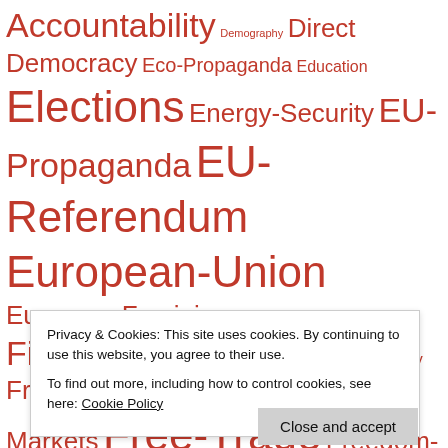[Figure (infographic): Tag cloud of political/social topics in red text at varying font sizes, including: Accountability, Demography, Direct Democracy, Eco-Propaganda, Education, Elections, Energy-Security, EU-Propaganda, EU-Referendum, European-Union, Eurozone, Feminism, Financial-Regulation, Foreign-Policy, Free-Markets, Free-Trade, Freedom-of-Speech, Globalism, Green-Religion, Green-Taxes, Health-Policy, Higher-Education, Human-Rights, Immigration, Islam, Islamism, Islamophobia, Judicial-Activism, Justice, Law, Lawfare, Leftism, Liberal-Elite, Liberal-Fascism, Media-Bias, Media-Foreign, Monarchy, Nuclear, Authoritarianism, State-Interventionism]
Privacy & Cookies: This site uses cookies. By continuing to use this website, you agree to their use.
To find out more, including how to control cookies, see here: Cookie Policy
Close and accept